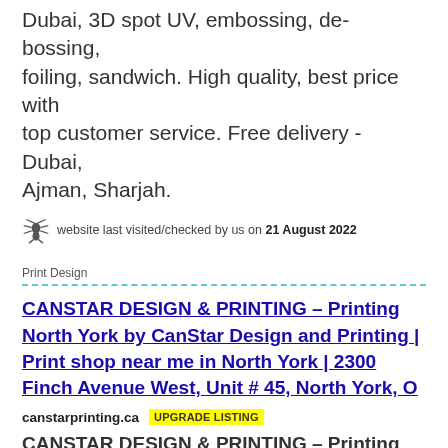Dubai, 3D spot UV, embossing, de-bossing, foiling, sandwich. High quality, best price with top customer service. Free delivery - Dubai, Ajman, Sharjah.
website last visited/checked by us on 21 August 2022
Print Design
CANSTAR DESIGN & PRINTING – Printing North York by CanStar Design and Printing | Print shop near me in North York | 2300 Finch Avenue West, Unit # 45, North York, O
canstarprinting.ca  UPGRADE LISTING
CANSTAR DESIGN & PRINTING – Printing